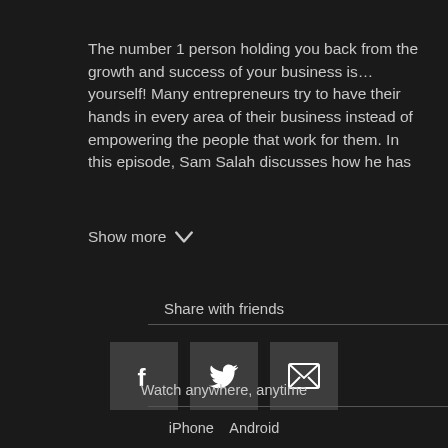The number 1 person holding you back from the growth and success of your business is… yourself! Many entrepreneurs try to have their hands in every area of their business instead of empowering the people that work for them. In this episode, Sam Salah discusses how he has
Show more
Share with friends
[Figure (infographic): Three social sharing buttons: Facebook (f), Twitter (bird), and Email (envelope)]
Watch anywhere, anytime
iPhone   Android